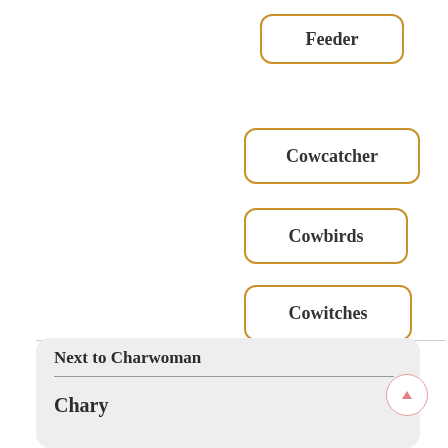Feeder
Cowcatcher
Cowbirds
Cowitches
Cowwheat
Next to Charwoman
Chary